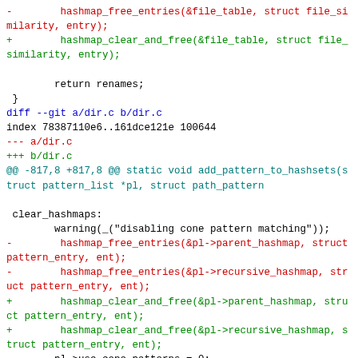Git diff patch showing removal of hashmap_free_entries calls and replacement with hashmap_clear_and_free in dir.c, including changes to add_pattern_to_hashsets and clear_pattern_list functions.